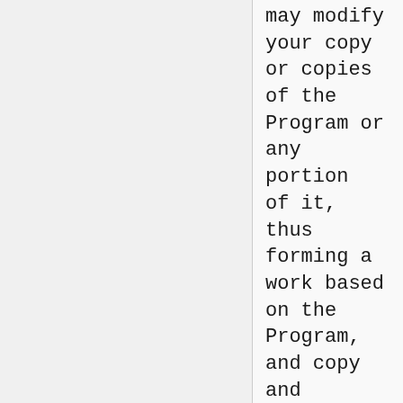may modify your copy or copies of the Program or any portion of it, thus forming a work based on the Program, and copy and distribute such